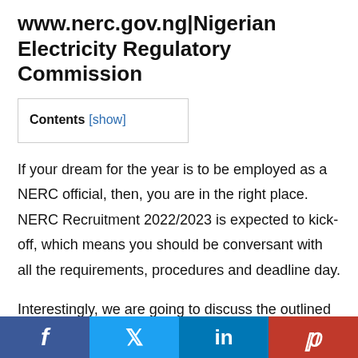www.nerc.gov.ng|Nigerian Electricity Regulatory Commission
Contents [show]
If your dream for the year is to be employed as a NERC official, then, you are in the right place. NERC Recruitment 2022/2023 is expected to kick-off, which means you should be conversant with all the requirements, procedures and deadline day.
Interestingly, we are going to discuss the outlined points in this article. It is, therefore, crucial you avoid distraction while reading through the lines of this